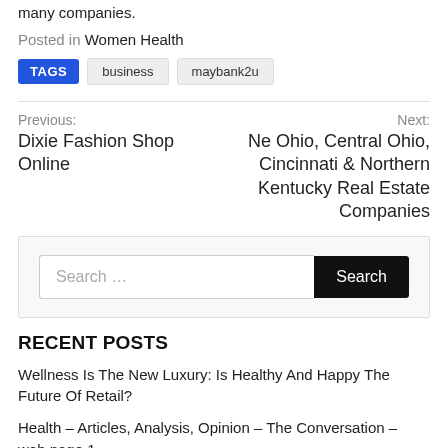many companies.
Posted in Women Health
TAGS business maybank2u
Previous: Dixie Fashion Shop Online
Next: Ne Ohio, Central Ohio, Cincinnati & Northern Kentucky Real Estate Companies
Search ...
RECENT POSTS
Wellness Is The New Luxury: Is Healthy And Happy The Future Of Retail?
Health – Articles, Analysis, Opinion – The Conversation – web page 1